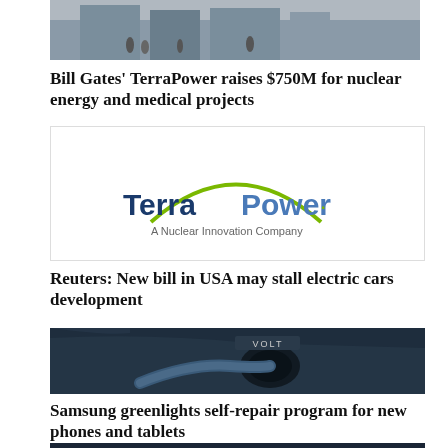[Figure (photo): Photo of a building exterior with people walking outside, partially cropped at top]
Bill Gates' TerraPower raises $750M for nuclear energy and medical projects
[Figure (logo): TerraPower logo - a green arc above the text 'TerraPower' in dark blue, with tagline 'A Nuclear Innovation Company']
Reuters: New bill in USA may stall electric cars development
[Figure (photo): Close-up photo of a Chevrolet Volt electric car being charged, showing the charging port with cable inserted]
Samsung greenlights self-repair program for new phones and tablets
[Figure (photo): Photo of a Samsung smartphone partially visible at the bottom, showing the Samsung branding]